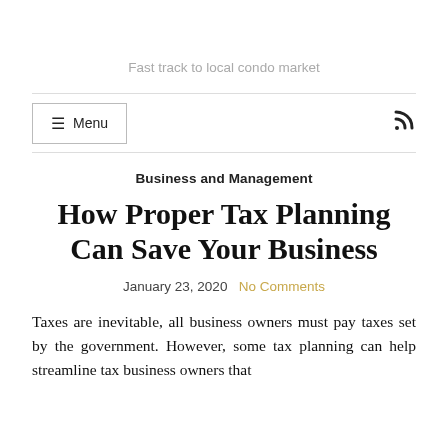Fast track to local condo market
Business and Management
How Proper Tax Planning Can Save Your Business
January 23, 2020  No Comments
Taxes are inevitable, all business owners must pay taxes set by the government. However, some tax planning can help streamline tax business owners that